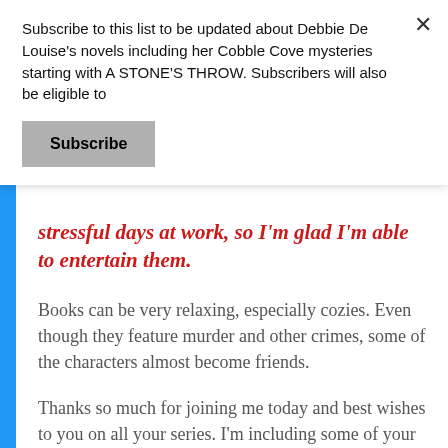Subscribe to this list to be updated about Debbie De Louise's novels including her Cobble Cove mysteries starting with A STONE'S THROW. Subscribers will also be eligible to
Subscribe
stressful days at work, so I'm glad I'm able to entertain them.
Books can be very relaxing, especially cozies. Even though they feature murder and other crimes, some of the characters almost become friends.
Thanks so much for joining me today and best wishes to you on all your series. I'm including some of your contact information for readers